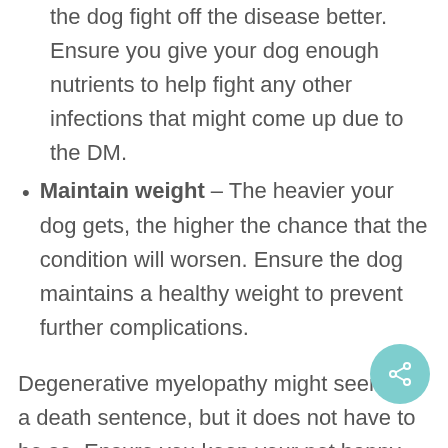the dog fight off the disease better. Ensure you give your dog enough nutrients to help fight any other infections that might come up due to the DM.
Maintain weight – The heavier your dog gets, the higher the chance that the condition will worsen. Ensure the dog maintains a healthy weight to prevent further complications.
Degenerative myelopathy might seem like a death sentence, but it does not have to be so. Ensure you keep your pet happy and active. Talk to your vet and figure out a treatment plan to keep your pet as comfortable as possible.